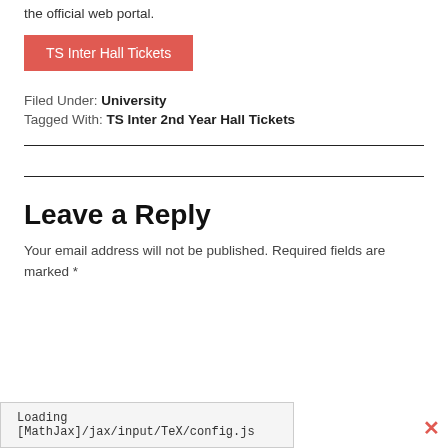the official web portal.
TS Inter Hall Tickets
Filed Under: University
Tagged With: TS Inter 2nd Year Hall Tickets
Leave a Reply
Your email address will not be published. Required fields are marked *
Loading [MathJax]/jax/input/TeX/config.js